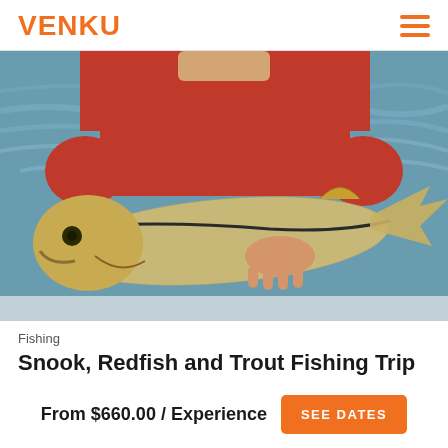VENKU
[Figure (photo): Person in red shirt holding a large snook fish with water in background]
Fishing
Snook, Redfish and Trout Fishing Trip
From $660.00 / Experience  SEE DATES